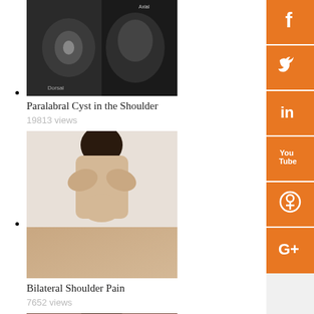Paralabral Cyst in the Shoulder — 19813 views
Bilateral Shoulder Pain — 7652 views
Scapular Winging — 6675 views